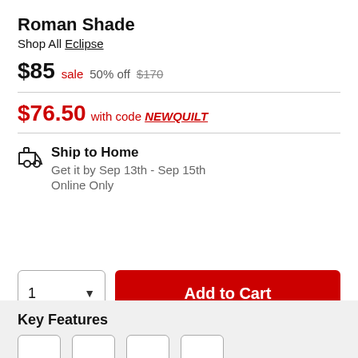Roman Shade
Shop All Eclipse
$85 sale  50% off  $170
$76.50 with code NEWQUILT
Ship to Home
Get it by Sep 13th - Sep 15th
Online Only
1  Add to Cart
Key Features